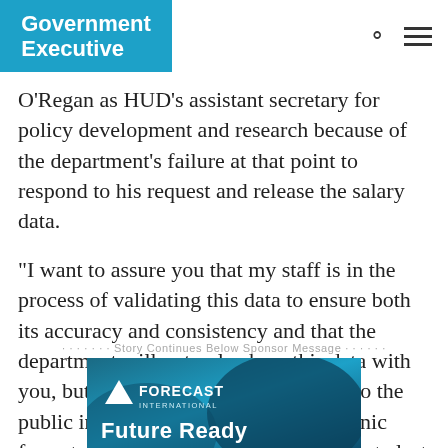Government Executive
O'Regan as HUD's assistant secretary for policy development and research because of the department's failure at that point to respond to his request and release the salary data.
“I want to assure you that my staff is in the process of validating this data to ensure both its accuracy and consistency and that the department will not only share this data with you, but also make this data available to the public in a searchable, standard electronic format, as you requested,” Donovan wrote last Thursday.
······· Story Continues Below Sponsor Message ······
[Figure (photo): Forecast International advertisement banner showing logo and 'Future Ready' tagline on a blue gradient background with abstract dark shapes]